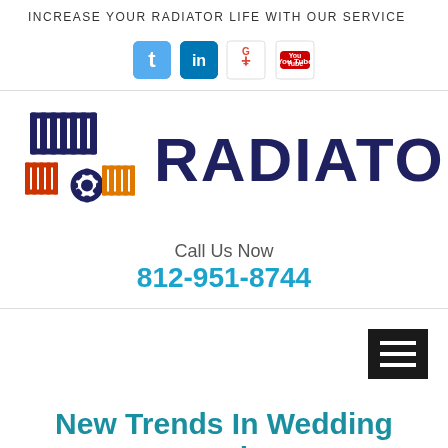INCREASE YOUR RADIATOR LIFE WITH OUR SERVICE
[Figure (logo): Social media icons: Twitter, LinkedIn, Google+, YouTube]
[Figure (logo): Radiator company logo with radiator and gear icons, text RADIATOR]
Call Us Now
812-951-8744
[Figure (other): Hamburger menu icon (three horizontal lines on dark background)]
New Trends In Wedding Catering